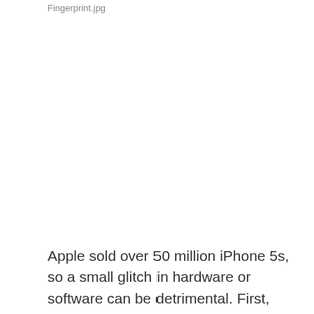Fingerprint.jpg
Apple sold over 50 million iPhone 5s, so a small glitch in hardware or software can be detrimental. First, Apple needs to make sure the hardware is functioning properly. Last week Reuters reported this, “A supply chain source in Taiwan said Apple was trying to find a coating material that did not interfere with the fingerprint sensor, and this may be causing a delay.” Second, Apple needs to make sure its manufacturers can